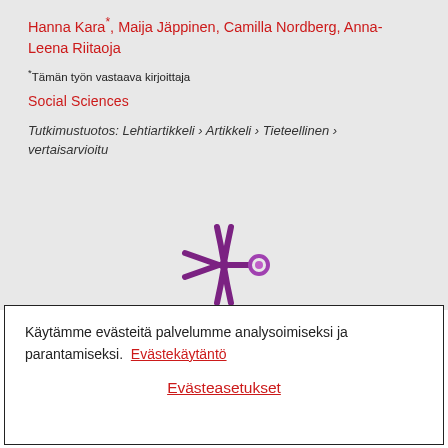Hanna Kara*, Maija Jäppinen, Camilla Nordberg, Anna-Leena Riitaoja
*Tämän työn vastaava kirjoittaja
Social Sciences
Tutkimustuotos: Lehtiartikkeli › Artikkeli › Tieteellinen › vertaisarvioitu
[Figure (logo): Stylized purple/magenta asterisk/snowflake logo with a small circle on the right arm — likely a research portal or publisher logo.]
Käytämme evästeitä palvelumme analysoimiseksi ja parantamiseksi.  Evästekäytäntö
Evästeasetukset